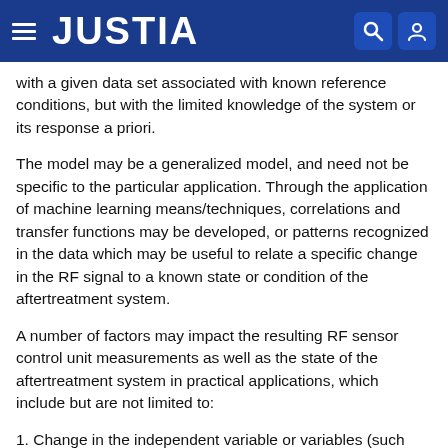JUSTIA
with a given data set associated with known reference conditions, but with the limited knowledge of the system or its response a priori.
The model may be a generalized model, and need not be specific to the particular application. Through the application of machine learning means/techniques, correlations and transfer functions may be developed, or patterns recognized in the data which may be useful to relate a specific change in the RF signal to a known state or condition of the aftertreatment system.
A number of factors may impact the resulting RF sensor control unit measurements as well as the state of the aftertreatment system in practical applications, which include but are not limited to:
1. Change in the independent variable or variables (such